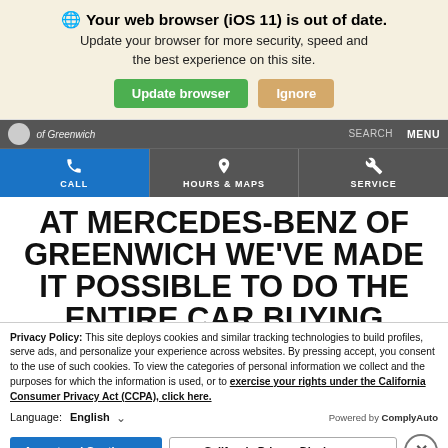Your web browser (iOS 11) is out of date. Update your browser for more security, speed and the best experience on this site.
Update browser | Ignore
of Greenwich   SEARCH   MENU
CALL | HOURS & MAPS | SERVICE
AT MERCEDES-BENZ OF GREENWICH WE'VE MADE IT POSSIBLE TO DO THE ENTIRE CAR BUYING
Privacy Policy: This site deploys cookies and similar tracking technologies to build profiles, serve ads, and personalize your experience across websites. By pressing accept, you consent to the use of such cookies. To view the categories of personal information we collect and the purposes for which the information is used, or to exercise your rights under the California Consumer Privacy Act (CCPA), click here.
Language: English   Powered by ComplyAuto
Accept and Continue → | California Privacy Disclosures | ×